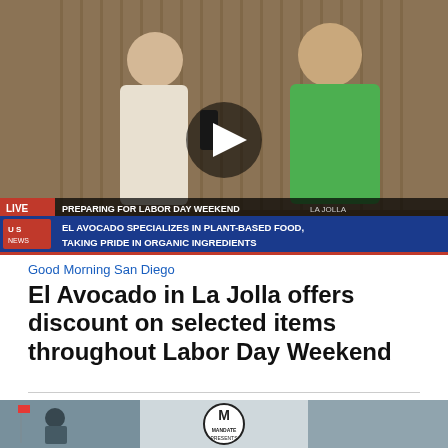[Figure (screenshot): TV news video thumbnail showing a reporter interviewing a woman in a green blouse inside a restaurant. Lower third banner reads: LIVE | PREPARING FOR LABOR DAY WEEKEND LA JOLLA | EL AVOCADO SPECIALIZES IN PLANT-BASED FOOD, TAKING PRIDE IN ORGANIC INGREDIENTS. A play button overlay is centered on the image.]
Good Morning San Diego
El Avocado in La Jolla offers discount on selected items throughout Labor Day Weekend
[Figure (screenshot): Bottom partial thumbnail of another video showing people outdoors with a MANDATE PRESENTS logo visible.]